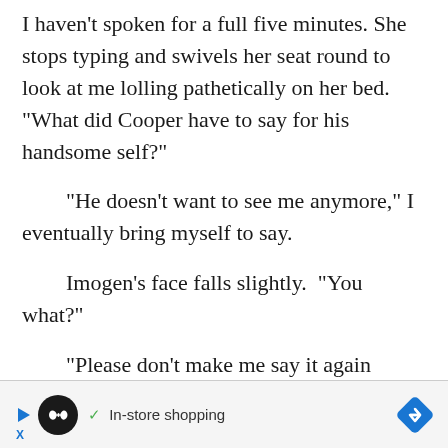I haven't spoken for a full five minutes. She stops typing and swivels her seat round to look at me lolling pathetically on her bed. “What did Cooper have to say for his handsome self?”
“He doesn't want to see me anymore,” I eventually bring myself to say.
Imogen’s face falls slightly. “You what?”
“Please don’t make me say it again
In-store shopping